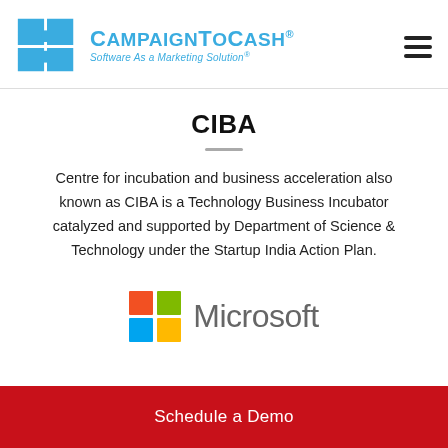[Figure (logo): CampaignToCash logo with puzzle pieces and text 'CAMPAIGNTOCASH® Software As a Marketing Solution®']
CIBA
Centre for incubation and business acceleration also known as CIBA is a Technology Business Incubator catalyzed and supported by Department of Science & Technology under the Startup India Action Plan.
[Figure (logo): Microsoft logo with four colored squares (red, green, blue, yellow) and the word 'Microsoft']
Schedule a Demo